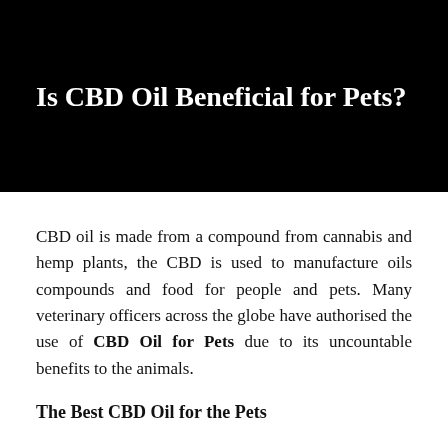Is CBD Oil Beneficial for Pets?
CBD oil is made from a compound from cannabis and hemp plants, the CBD is used to manufacture oils compounds and food for people and pets. Many veterinary officers across the globe have authorised the use of CBD Oil for Pets due to its uncountable benefits to the animals.
The Best CBD Oil for the Pets